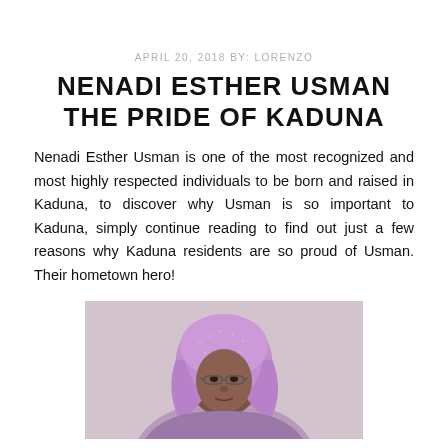APRIL 20, 2018 BY: LORENZO
NENADI ESTHER USMAN THE PRIDE OF KADUNA
Nenadi Esther Usman is one of the most recognized and most highly respected individuals to be born and raised in Kaduna, to discover why Usman is so important to Kaduna, simply continue reading to find out just a few reasons why Kaduna residents are so proud of Usman. Their hometown hero!
[Figure (photo): Photo of Nenadi Esther Usman wearing a purple headscarf and glasses, cropped portrait shot]